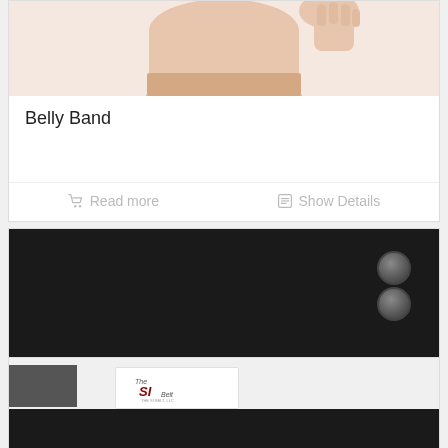[Figure (photo): Product photo of a belly band on a mannequin torso, showing skin-toned lower torso with the belly band]
Belly Band
Read more
Show Details
[Figure (photo): Close-up photo of a black fabric belly band with two metal snap buttons on the right side and a white elastic waistband with 'The SI Belt' label]